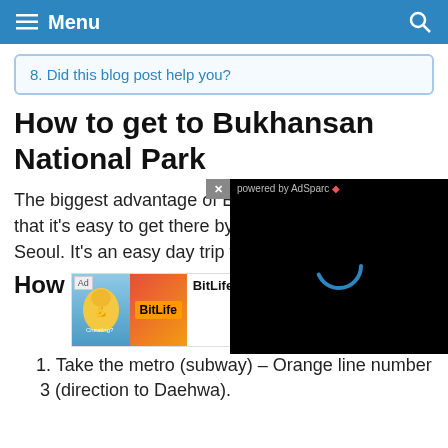Menu
8. Did this blog post help you?
How to get to Bukhansan National Park
The biggest advantage of Bukhansan mountain is that it's easy to get there by metro (subway) from Seoul. It's an easy day trip from Seoul.
[Figure (screenshot): Video ad overlay showing 'powered by AdSparc' with a loading spinner on black background, with a close button]
[Figure (screenshot): Banner advertisement for BitLife - Life Simulator with Install button]
How
1. Take the metro (subway) – Orange line number 3 (direction to Daehwa).